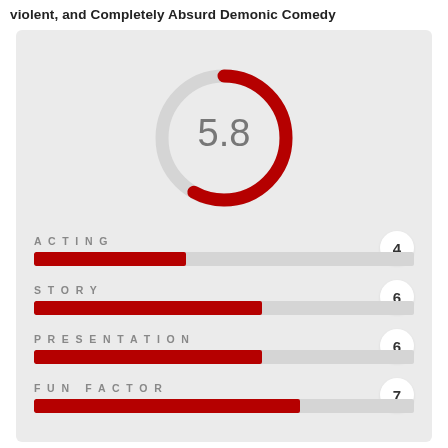Violent, and Completely Absurd Demonic Comedy
[Figure (donut-chart): Overall Score]
[Figure (bar-chart): Category Scores]